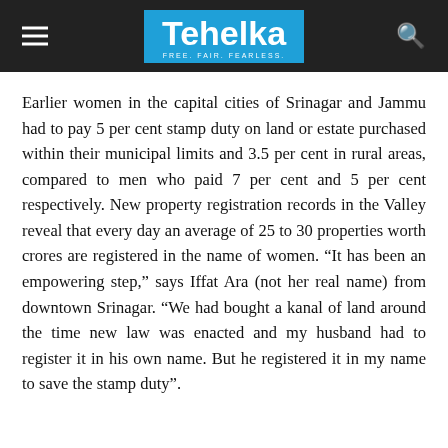Tehelka — FREE. FAIR. FEARLESS.
Earlier women in the capital cities of Srinagar and Jammu had to pay 5 per cent stamp duty on land or estate purchased within their municipal limits and 3.5 per cent in rural areas, compared to men who paid 7 per cent and 5 per cent respectively. New property registration records in the Valley reveal that every day an average of 25 to 30 properties worth crores are registered in the name of women. “It has been an empowering step,” says Iffat Ara (not her real name) from downtown Srinagar. “We had bought a kanal of land around the time new law was enacted and my husband had to register it in his own name. But he registered it in my name to save the stamp duty”.